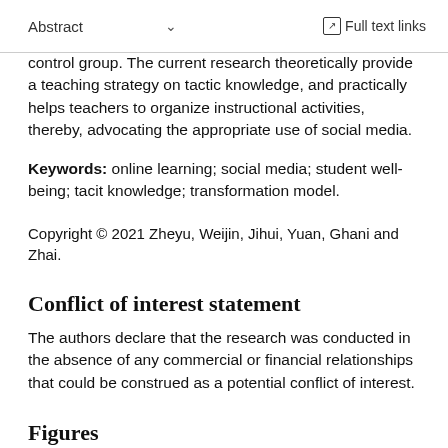Abstract  ∨  Full text links
control group. The current research theoretically provide a teaching strategy on tactic knowledge, and practically helps teachers to organize instructional activities, thereby, advocating the appropriate use of social media.
Keywords: online learning; social media; student well-being; tacit knowledge; transformation model.
Copyright © 2021 Zheyu, Weijin, Jihui, Yuan, Ghani and Zhai.
Conflict of interest statement
The authors declare that the research was conducted in the absence of any commercial or financial relationships that could be construed as a potential conflict of interest.
Figures